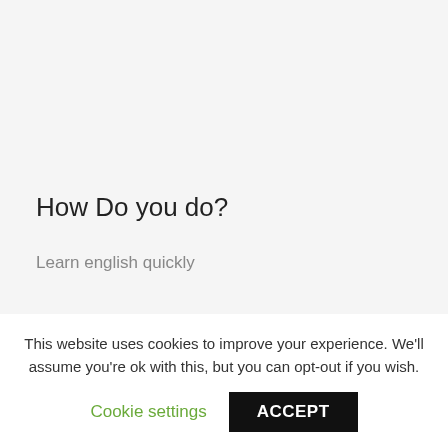How Do you do?
Learn english quickly
Top Posts & Pages
This website uses cookies to improve your experience. We'll assume you're ok with this, but you can opt-out if you wish.
Cookie settings
ACCEPT